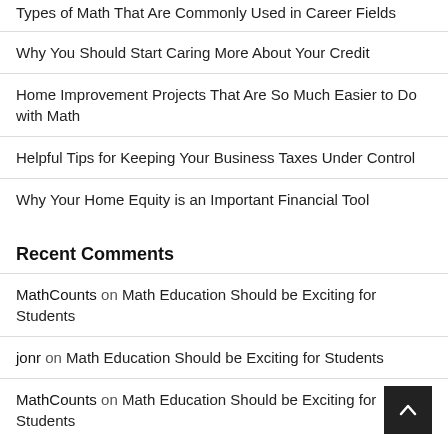Types of Math That Are Commonly Used in Career Fields
Why You Should Start Caring More About Your Credit
Home Improvement Projects That Are So Much Easier to Do with Math
Helpful Tips for Keeping Your Business Taxes Under Control
Why Your Home Equity is an Important Financial Tool
Recent Comments
MathCounts on Math Education Should be Exciting for Students
jonr on Math Education Should be Exciting for Students
MathCounts on Math Education Should be Exciting for Students